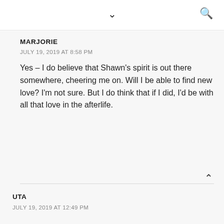▼  🔍
MARJORIE
JULY 19, 2019 AT 8:58 PM
Yes – I do believe that Shawn's spirit is out there somewhere, cheering me on. Will I be able to find new love? I'm not sure. But I do think that if I did, I'd be with all that love in the afterlife.
UTA
JULY 19, 2019 AT 12:49 PM